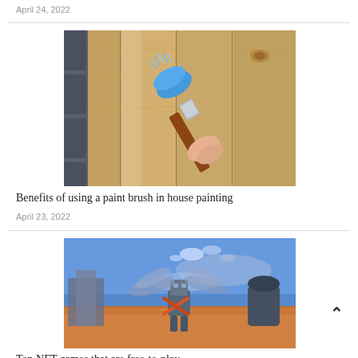April 24, 2022
[Figure (photo): Close-up of a blue paint brush being used on wooden planks]
Benefits of using a paint brush in house painting
April 23, 2022
[Figure (photo): Video game scene showing a futuristic robot character in an orange grassland with flying objects]
Top NFT games that are free-to-play